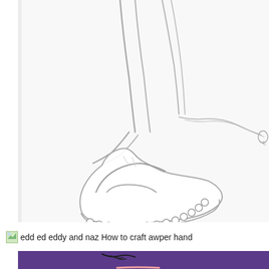[Figure (illustration): Pencil sketch drawing of a cartoon foot/shoe with decorative scalloped sole, laces or string details at ankle, drawn in a loose sketchy style on white paper background. Appears to be a character foot (Ed, Edd n Eddy style).]
edd ed eddy and naz How to craft awper hand
[Figure (illustration): Partial view of an animated/cartoon character face with purple background, visible forehead with dark hair/eyelashes, and top of open mouth visible at bottom.]